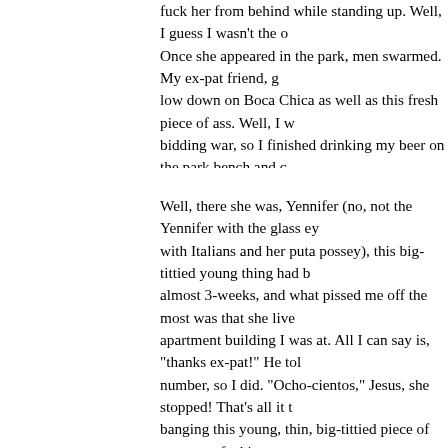fuck her from behind while standing up. Well, I guess I wasn't the o Once she appeared in the park, men swarmed. My ex-pat friend, g low down on Boca Chica as well as this fresh piece of ass. Well, I w bidding war, so I finished drinking my beer on the park bench and c ex-pat.
Well, there she was, Yennifer (no, not the Yennifer with the glass ey with Italians and her puta possey), this big-tittied young thing had b almost 3-weeks, and what pissed me off the most was that she live apartment building I was at. All I can say is, "thanks ex-pat!" He tol number, so I did. "Ocho-cientos," Jesus, she stopped! That's all it t banging this young, thin, big-tittied piece of ass every fucking morn word that I can remember out of my mouth were "Motoconcho!" We place, and I have to see them, I have to suck on them. They are be for a girl this age. I am an ass man, but today, I worshipped titties! she showers I plow into this girl. She's biting her lip and I am conce her, but she she's looking straight at me and not saying a word. We 15 minutes or 30, but it was good, and I was satisified, a piece of a return trip and conveniently right next door. Well, she cleans up, I g of my chicas) and we exchange numbers.
I am set. It's getting late and I still need to pack, but I have to thank advice. So I see him on the street and thank him. I say my good-by and there she is, Lele!!! She's great, a little loca, but a lot of fun. I h all day. I hooked up with her the day before, but had wanted two we knew when and where to find her, and when I did see her, I didn't m again it was too much, too late. Somehow that didn't seem to bothe kept pulling my arm and well, I happily agreed. Unlike, the night be electricity, but I wanted her like the night before, so I lit some can